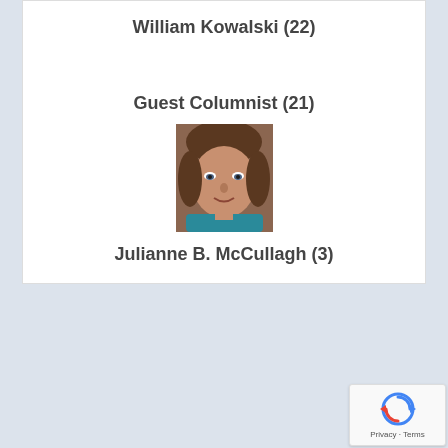William Kowalski (22)
Guest Columnist (21)
[Figure (photo): Headshot photo of a woman with brown hair, smiling, wearing a teal top]
Julianne B. McCullagh (3)
[Figure (logo): Google reCAPTCHA badge with Privacy and Terms links]